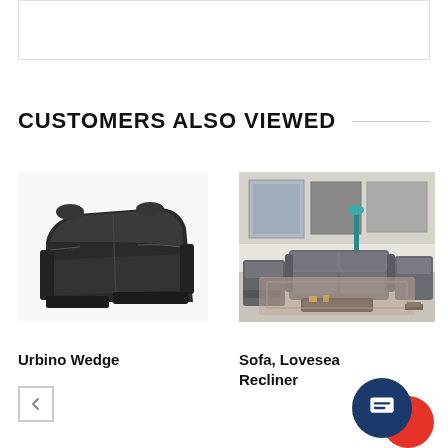[Figure (other): Top white box with border, partially visible product image area]
CUSTOMERS ALSO VIEWED
[Figure (photo): Urbino Wedge — dark charcoal leather curved wedge recliner sofa piece, photographed on white background]
Urbino Wedge
[Figure (photo): Sofa, Loveseat, Recliner — gray leather living room set shown in a styled room setting]
Sofa, Loveseat, Recliner